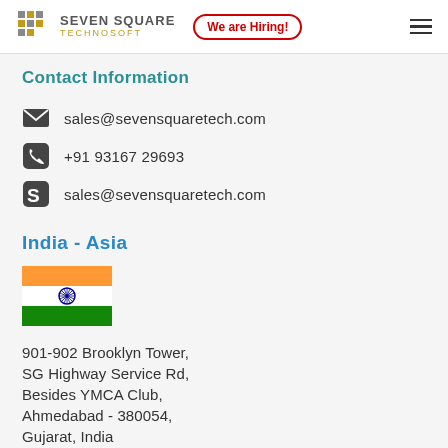SEVEN SQUARE TECHNOSOFT | We are Hiring!
Contact Information
sales@sevensquaretech.com
+91 93167 29693
sales@sevensquaretech.com
India - Asia
[Figure (illustration): Indian national flag with orange, white, and green horizontal stripes and blue Ashoka Chakra in center]
901-902 Brooklyn Tower,
SG Highway Service Rd,
Besides YMCA Club,
Ahmedabad - 380054,
Gujarat, India